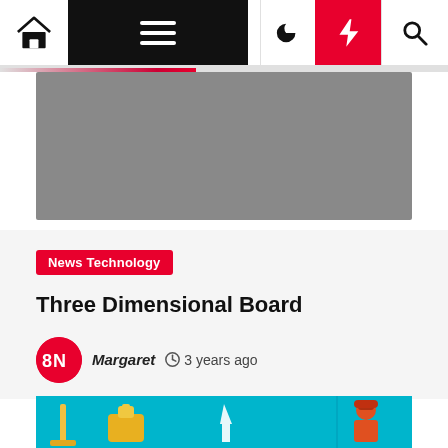Navigation bar with home, menu, moon, bolt, and search icons
[Figure (photo): Gray placeholder image for article hero photo]
News Technology
Three Dimensional Board
Margaret  3 years ago
[Figure (illustration): Colorful teal illustration with figures, a trophy, and person in red top]